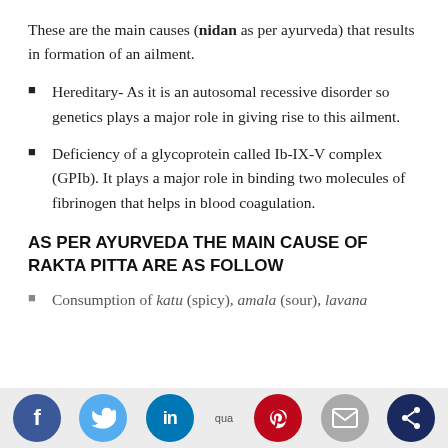These are the main causes (nidan as per ayurveda) that results in formation of an ailment.
Hereditary- As it is an autosomal recessive disorder so genetics plays a major role in giving rise to this ailment.
Deficiency of a glycoprotein called Ib-IX-V complex (GPIb). It plays a major role in binding two molecules of fibrinogen that helps in blood coagulation.
AS PER AYURVEDA THE MAIN CAUSE OF RAKTA PITTA ARE AS FOLLOW
Consumption of katu (spicy), amala (sour), lavana (salty) in abundance quality...